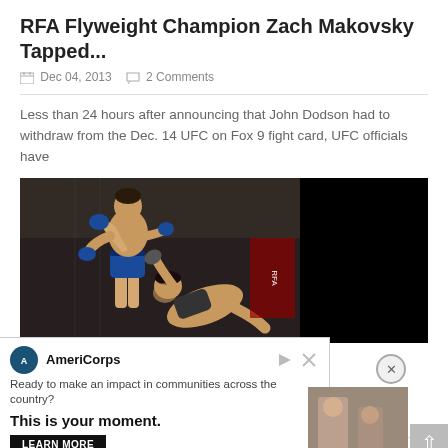RFA Flyweight Champion Zach Makovsky Tapped...
Dec 04, 2013   2 Comments
Less than 24 hours after announcing that John Dodson had to withdraw from the Dec. 14 UFC on Fox 9 fight card, UFC officials have
[Figure (photo): MMA fight photo showing two fighters in a cage, one delivering a kick while the other is on the ground. Right half of image is black.]
RFA 11 Fight Highlights: Chinzo MachidaR...
Nov 23, 2013   No Comments
There were several impressive performances at Friday night's RFA 11. Manzar... ...scary than Chi...
[Figure (infographic): AmeriCorps advertisement banner: 'Ready to make an impact in communities across the country? This is your moment.' with Learn More button and image of people on right side.]